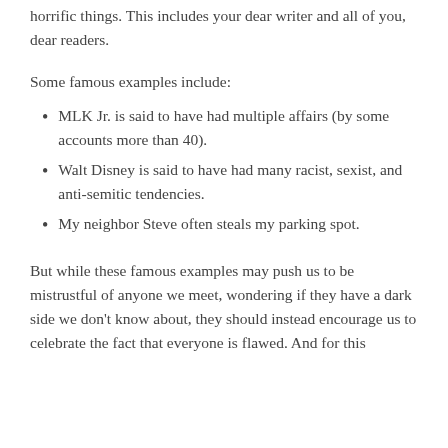horrific things. This includes your dear writer and all of you, dear readers.
Some famous examples include:
MLK Jr. is said to have had multiple affairs (by some accounts more than 40).
Walt Disney is said to have had many racist, sexist, and anti-semitic tendencies.
My neighbor Steve often steals my parking spot.
But while these famous examples may push us to be mistrustful of anyone we meet, wondering if they have a dark side we don't know about, they should instead encourage us to celebrate the fact that everyone is flawed. And for this